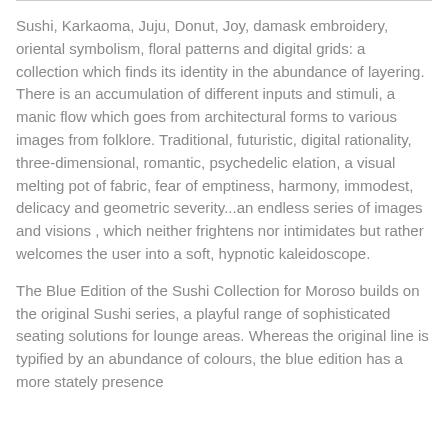Sushi, Karkaoma, Juju, Donut, Joy, damask embroidery, oriental symbolism, floral patterns and digital grids: a collection which finds its identity in the abundance of layering. There is an accumulation of different inputs and stimuli, a manic flow which goes from architectural forms to various images from folklore. Traditional, futuristic, digital rationality, three-dimensional, romantic, psychedelic elation, a visual melting pot of fabric, fear of emptiness, harmony, immodest, delicacy and geometric severity...an endless series of images and visions , which neither frightens nor intimidates but rather welcomes the user into a soft, hypnotic kaleidoscope.
The Blue Edition of the Sushi Collection for Moroso builds on the original Sushi series, a playful range of sophisticated seating solutions for lounge areas. Whereas the original line is typified by an abundance of colours, the blue edition has a more stately presence